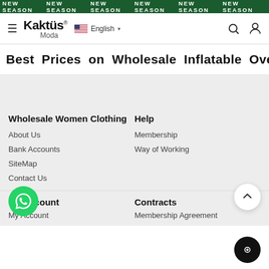NEW SEASON  NEW SEASON  NEW SEASON  NEW SEASON  NEW SEASON  NEW SEASON
[Figure (screenshot): Kaktüs Moda website navigation bar with logo, English language selector, search icon, and user icon]
Best Prices on Wholesale Inflatable Oversize Coat
Wholesale Women Clothing
About Us
Bank Accounts
SiteMap
Contact Us
Help
Membership
Way of Working
My Account
My Account
Contracts
Membership Agreement